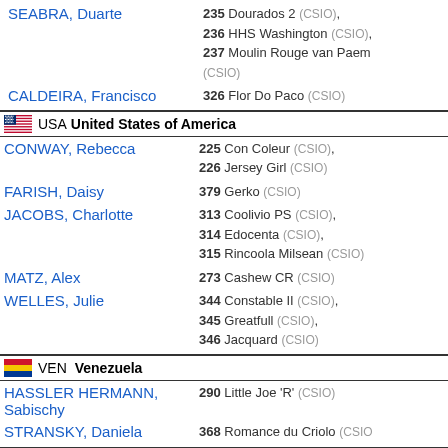SEABRA, Duarte — 235 Dourados 2 (CSIO), 236 HHS Washington (CSIO), 237 Moulin Rouge van Paem (CSIO)
CALDEIRA, Francisco — 326 Flor Do Paco (CSIO)
USA United States of America
CONWAY, Rebecca — 225 Con Coleur (CSIO), 226 Jersey Girl (CSIO)
FARISH, Daisy — 379 Gerko (CSIO)
JACOBS, Charlotte — 313 Coolivio PS (CSIO), 314 Edocenta (CSIO), 315 Rincoola Milsean (CSIO)
MATZ, Alex — 273 Cashew CR (CSIO)
WELLES, Julie — 344 Constable II (CSIO), 345 Greatfull (CSIO), 346 Jacquard (CSIO)
VEN Venezuela
HASSLER HERMANN, Sabischy — 290 Little Joe 'R' (CSIO)
STRANSKY, Daniela — 368 Romance du Criolo (CSIO)
Nations: 13   Athletes: 88   Horses: 190
entry status live - generated by HippoBase - IT solutions for the equestrian world